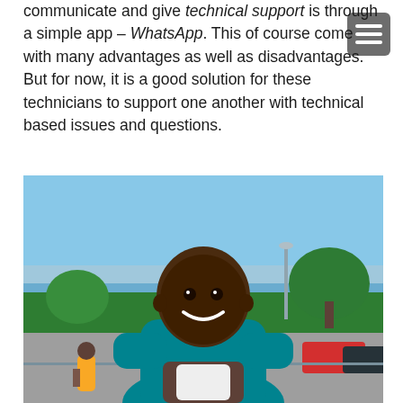communicate and give technical support is through a simple app – WhatsApp. This of course come with many advantages as well as disadvantages. But for now, it is a good solution for these technicians to support one another with technical based issues and questions.
[Figure (photo): A smiling man wearing a teal/turquoise polo shirt holding a white smartphone, photographed outdoors with a blue sky, trees, and parked cars in the background.]